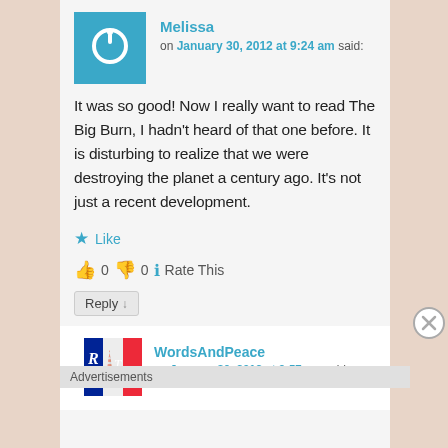Melissa
on January 30, 2012 at 9:24 am said:
It was so good! Now I really want to read The Big Burn, I hadn't heard of that one before. It is disturbing to realize that we were destroying the planet a century ago. It's not just a recent development.
★ Like
👍 0 👎 0 ℹ Rate This
Reply ↓
WordsAndPeace
on January 30, 2012 at 9:57 am said:
Advertisements